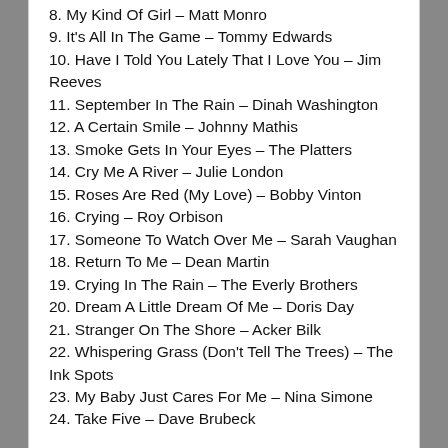8. My Kind Of Girl – Matt Monro
9. It's All In The Game – Tommy Edwards
10. Have I Told You Lately That I Love You – Jim Reeves
11. September In The Rain – Dinah Washington
12. A Certain Smile – Johnny Mathis
13. Smoke Gets In Your Eyes – The Platters
14. Cry Me A River – Julie London
15. Roses Are Red (My Love) – Bobby Vinton
16. Crying – Roy Orbison
17. Someone To Watch Over Me – Sarah Vaughan
18. Return To Me – Dean Martin
19. Crying In The Rain – The Everly Brothers
20. Dream A Little Dream Of Me – Doris Day
21. Stranger On The Shore – Acker Bilk
22. Whispering Grass (Don't Tell The Trees) – The Ink Spots
23. My Baby Just Cares For Me – Nina Simone
24. Take Five – Dave Brubeck